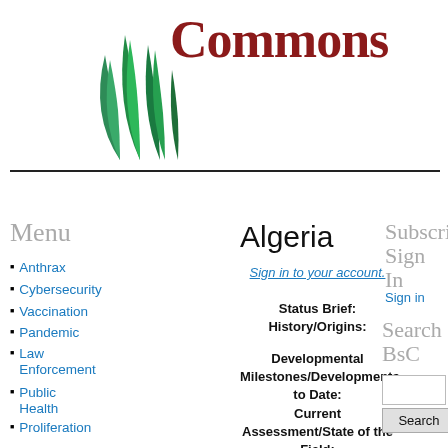[Figure (logo): Green grass/reeds logo with dark red 'Commons' text in serif font]
Anthrax
Cybersecurity
Vaccination
Pandemic
Law Enforcement
Public Health
Proliferation Security Initiative (PSI)
Chemical
Case Law
Algeria
Sign in to your account.
Status Brief:
History/Origins:
Developmental Milestones/Developments to Date:
Current Assessment/State of the Field:
Problems/Challenges:
Subscribe Sign In
Sign in
Search BsC